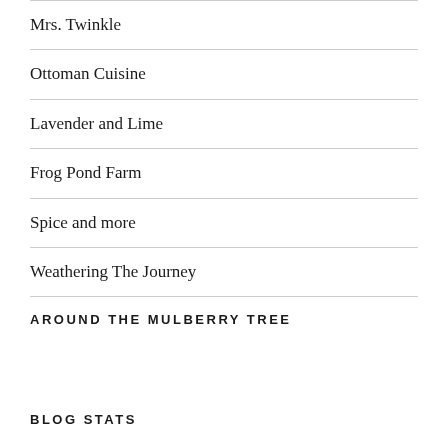Mrs. Twinkle
Ottoman Cuisine
Lavender and Lime
Frog Pond Farm
Spice and more
Weathering The Journey
AROUND THE MULBERRY TREE
BLOG STATS